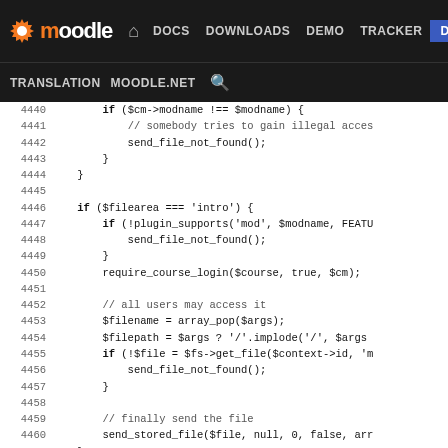moodle DOCS DOWNLOADS DEMO TRACKER DEV TRANSLATION MOODLE.NET
4440   if ($cm->modname !== $modname) {
4441       // somebody tries to gain illegal acces
4442       send_file_not_found();
4443   }
4444   }
4445
4446   if ($filearea === 'intro') {
4447       if (!plugin_supports('mod', $modname, FEATU
4448           send_file_not_found();
4449       }
4450       require_course_login($course, true, $cm);
4451
4452       // all users may access it
4453       $filename = array_pop($args);
4454       $filepath = $args ? '/'.implode('/', $args
4455       if (!$file = $fs->get_file($context->id, 'm
4456           send_file_not_found();
4457       }
4458
4459       // finally send the file
4460       send_stored_file($file, null, 0, false, arr
4461   }
4462
4463   $filefunction = $component.'_pluginfile';
4464   $filefunctionold = $modname.'_pluginfile';
4465   if (function_exists($filefunction)) {
4466       // if the function exists, it must send th